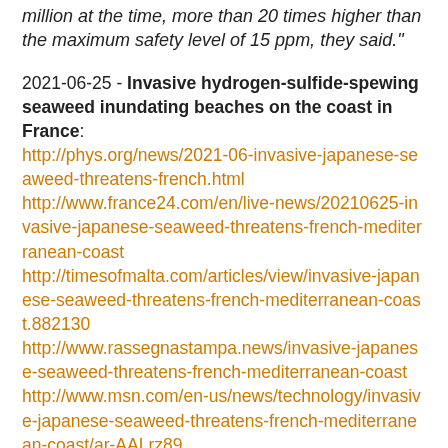million at the time, more than 20 times higher than the maximum safety level of 15 ppm, they said."
2021-06-25 - Invasive hydrogen-sulfide-spewing seaweed inundating beaches on the coast in France: http://phys.org/news/2021-06-invasive-japanese-seaweed-threatens-french.html http://www.france24.com/en/live-news/20210625-invasive-japanese-seaweed-threatens-french-mediterranean-coast http://timesofmalta.com/articles/view/invasive-japanese-seaweed-threatens-french-mediterranean-coast.882130 http://www.rassegnastampa.news/invasive-japanese-seaweed-threatens-french-mediterranean-coast http://www.msn.com/en-us/news/technology/invasive-japanese-seaweed-threatens-french-mediterranean-coast/ar-AALrz89
Quote: "A potentially toxic seaweed originally found off Japan has colonised a stretch of the Mediterranean coast near Marseille that is home to one of France's most popular natural attractions. The green algae, rugulopteryx okamurae, poses a health risk because once it washes up on rocks and beaches it begins to decompose and emit hydrogen sulfide...